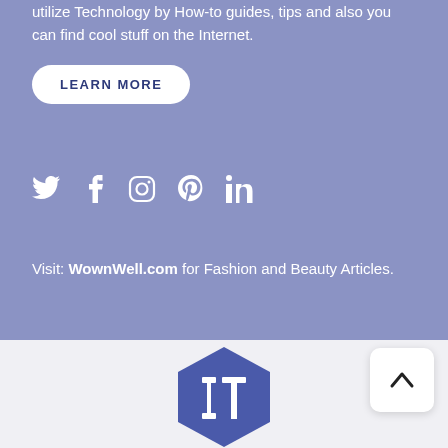utilize Technology by How-to guides, tips and also you can find cool stuff on the Internet.
LEARN MORE
[Figure (illustration): Social media icons: Twitter, Facebook, Instagram, Pinterest, LinkedIn — white icons on blue-gray background]
Visit: WownWell.com for Fashion and Beauty Articles.
[Figure (logo): IT hexagon logo in blue and white, partially visible at bottom of page]
[Figure (illustration): Back-to-top arrow button (^) on white rounded square, positioned at top-right of footer area]